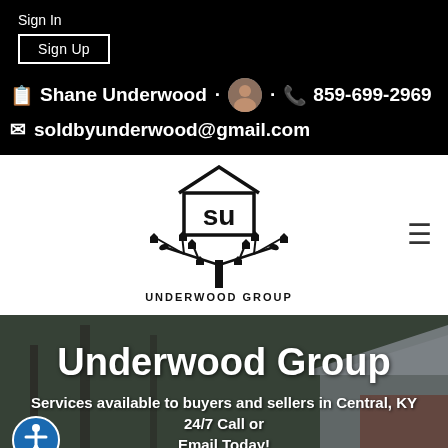Sign In
Sign Up
Shane Underwood · 📞 859-699-2969
soldbyunderwood@gmail.com
[Figure (logo): Underwood Group logo: a tree made of house icons with 'su' text inside a house outline above, and 'UNDERWOOD GROUP' text below]
Underwood Group
Services available to buyers and sellers in Central, KY 24/7 Call or Email Today!